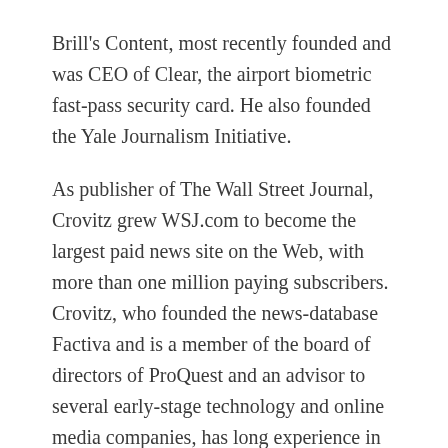Brill's Content, most recently founded and was CEO of Clear, the airport biometric fast-pass security card. He also founded the Yale Journalism Initiative.
As publisher of The Wall Street Journal, Crovitz grew WSJ.com to become the largest paid news site on the Web, with more than one million paying subscribers. Crovitz, who founded the news-database Factiva and is a member of the board of directors of ProQuest and an advisor to several early-stage technology and online media companies, has long experience in using digital technologies to help news publishers generate significant and highly profitable revenues from readers and users.
Hindery, a longtime media executive whose positions included being CEO of television TV and TCI